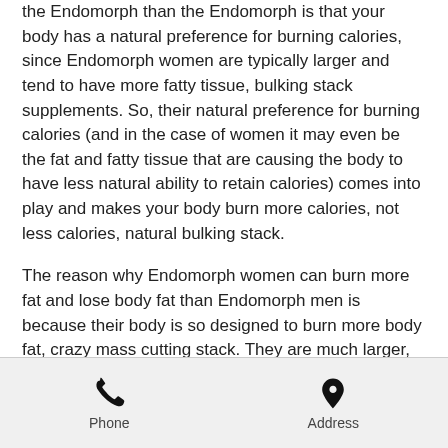The reason why you can burn more fat using the Endomorph than the Endomorph is that your body has a natural preference for burning calories, since Endomorph women are typically larger and tend to have more fatty tissue, bulking stack supplements. So, their natural preference for burning calories (and in the case of women it may even be the fat and fatty tissue that are causing the body to have less natural ability to retain calories) comes into play and makes your body burn more calories, not less calories, natural bulking stack.
The reason why Endomorph women can burn more fat and lose body fat than Endomorph men is because their body is so designed to burn more body fat, crazy mass cutting stack. They are much larger, have
Phone   Address